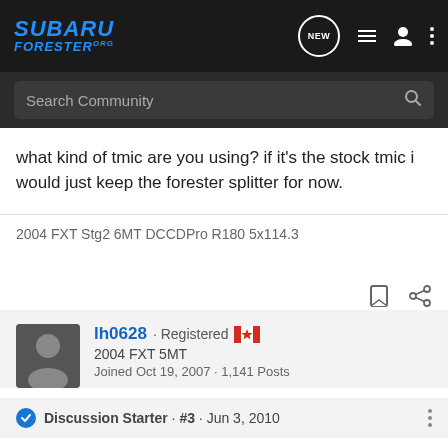SUBARU FORESTER.org — Navigation header with search bar
what kind of tmic are you using? if it's the stock tmic i would just keep the forester splitter for now.
2004 FXT Stg2 6MT DCCDPro R180 5x114.3
lh0628 · Registered 🇨🇦
2004 FXT 5MT
Joined Oct 19, 2007 · 1,141 Posts
Discussion Starter · #3 · Jun 3, 2010